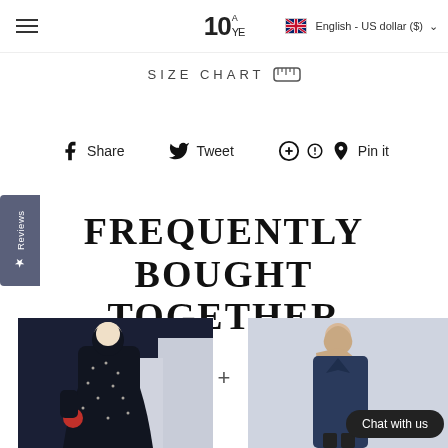10YE — English - US dollar ($)
SIZE CHART 📏
★ Reviews
Share   Tweet   Pin it
FREQUENTLY BOUGHT TOGETHER
[Figure (photo): Woman wearing a dark navy/black star-print abaya maxi dress, photographed outdoors]
[Figure (photo): Woman wearing a navy blue cardigan/coat with a beige hijab scarf, with a Chat with us button overlay]